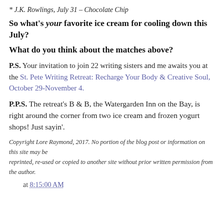* J.K. Rowlings, July 31 – Chocolate Chip
So what's your favorite ice cream for cooling down this July?
What do you think about the matches above?
P.S. Your invitation to join 22 writing sisters and me awaits you at the St. Pete Writing Retreat: Recharge Your Body & Creative Soul, October 29-November 4.
P.P.S. The retreat's B & B, the Watergarden Inn on the Bay, is right around the corner from two ice cream and frozen yogurt shops! Just sayin'.
Copyright Lore Raymond, 2017. No portion of the blog post or information on this site may be reprinted, re-used or copied to another site without prior written permission from the author.
at 8:15:00 AM